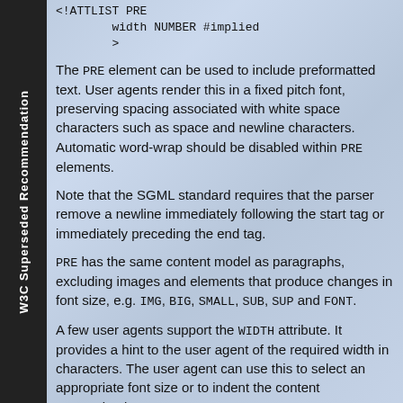<!ATTLIST PRE
        width NUMBER #implied
        >
The PRE element can be used to include preformatted text. User agents render this in a fixed pitch font, preserving spacing associated with white space characters such as space and newline characters. Automatic word-wrap should be disabled within PRE elements.
Note that the SGML standard requires that the parser remove a newline immediately following the start tag or immediately preceding the end tag.
PRE has the same content model as paragraphs, excluding images and elements that produce changes in font size, e.g. IMG, BIG, SMALL, SUB, SUP and FONT.
A few user agents support the WIDTH attribute. It provides a hint to the user agent of the required width in characters. The user agent can use this to select an appropriate font size or to indent the content appropriately.
Here is an example of a PRE element; a verse from Shelley (To a Skylark):
<PRE>
W3C Superseded Recommendation